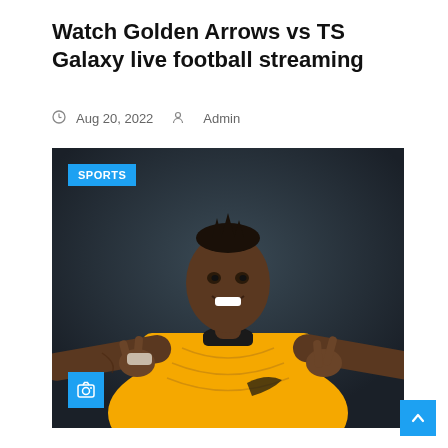Watch Golden Arrows vs TS Galaxy live football streaming
Aug 20, 2022  Admin
[Figure (photo): A smiling male football player wearing a yellow Kaizer Chiefs jersey making peace signs with both hands against a dark background. A blue 'SPORTS' badge appears in the top-left corner and a blue camera icon badge in the bottom-left.]